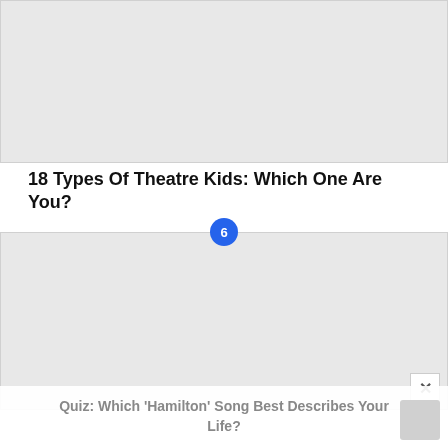[Figure (photo): Gray placeholder image block at top of page]
18 Types Of Theatre Kids: Which One Are You?
[Figure (photo): Gray placeholder image block with blue circle badge labeled 6]
Quiz: Which ‘Hamilton’ Song Best Describes Your Life?